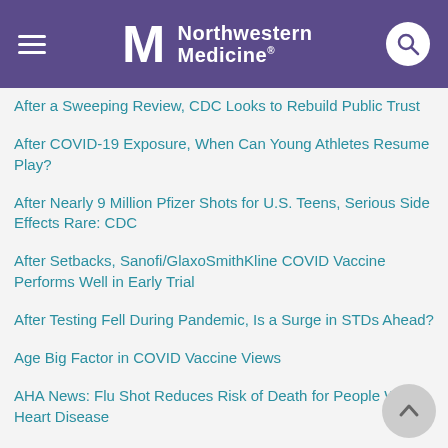Northwestern Medicine
After a Sweeping Review, CDC Looks to Rebuild Public Trust
After COVID-19 Exposure, When Can Young Athletes Resume Play?
After Nearly 9 Million Pfizer Shots for U.S. Teens, Serious Side Effects Rare: CDC
After Setbacks, Sanofi/GlaxoSmithKline COVID Vaccine Performs Well in Early Trial
After Testing Fell During Pandemic, Is a Surge in STDs Ahead?
Age Big Factor in COVID Vaccine Views
AHA News: Flu Shot Reduces Risk of Death for People With Heart Disease